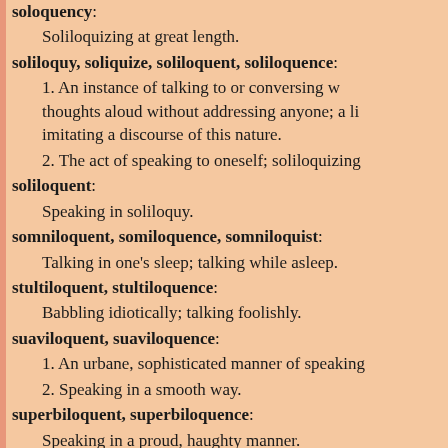soloquency:
Soliloquizing at great length.
soliloquy, soliquize, soliloquent, soliloquence:
1. An instance of talking to or conversing w... thoughts aloud without addressing anyone; a li... imitating a discourse of this nature.
2. The act of speaking to oneself; soliloquizing...
soliloquent:
Speaking in soliloquy.
somniloquent, somiloquence, somniloquist:
Talking in one's sleep; talking while asleep.
stultiloquent, stultiloquence:
Babbling idiotically; talking foolishly.
suaviloquent, suaviloquence:
1. An urbane, sophisticated manner of speaking...
2. Speaking in a smooth way.
superbiloquent, superbiloquence:
Speaking in a proud, haughty manner.
tardiloquent, tardiloquence, tardiloquy:
Speaking slowly; talking in a slow way or dra... slow speech.
tolutiloquent, tolutiloquence: